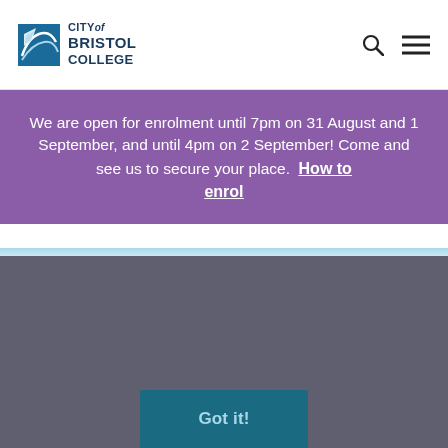CITY of BRISTOL COLLEGE
We are open for enrolment until 7pm on 31 August and 1 September, and until 4pm on 2 September! Come and see us to secure your place. How to enrol
Visit the Centre you will be studying at to confirm your place.
Find out more about enrolment
We use cookies! This website uses cookies to ensure you get the best experience on our website. Privacy policy
Accept
Got it!